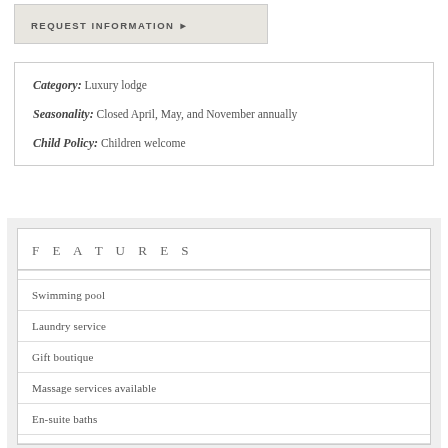REQUEST INFORMATION ▶
| Category: | Luxury lodge |
| Seasonality: | Closed April, May, and November annually |
| Child Policy: | Children welcome |
F E A T U R E S
Swimming pool
Laundry service
Gift boutique
Massage services available
En-suite baths